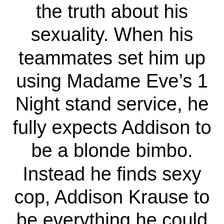the truth about his sexuality. When his teammates set him up using Madame Eveâ€™s 1 Night stand service, he fully expects Addison to be a blonde bimbo. Instead he finds sexy cop, Addison Krause to be everything he could